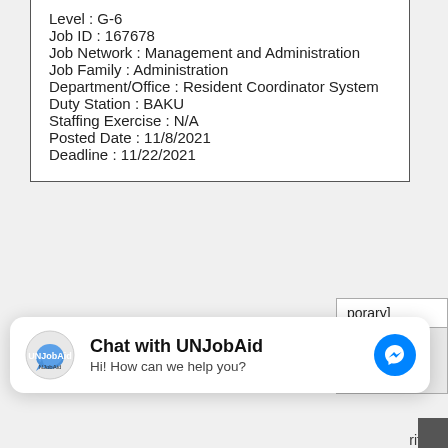Level : G-6
Job ID : 167678
Job Network : Management and Administration
Job Family : Administration
Department/Office : Resident Coordinator System
Duty Station : BAKU
Staffing Exercise : N/A
Posted Date : 11/8/2021
Deadline : 11/22/2021
By continuing to use this website, you consent to the use of cookies in accordance with our Cookie Policy.
porary]
[Figure (other): Chat widget for UNJobAid with messenger icon]
rity